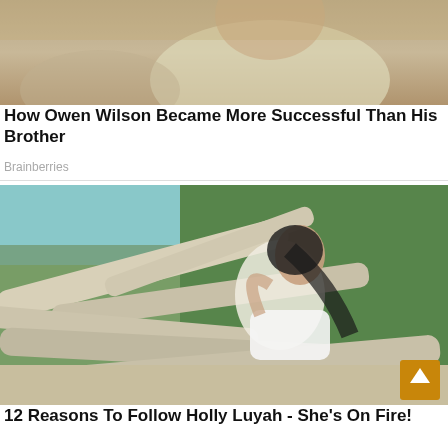[Figure (photo): Top portion of a photo showing two people, one in a yellow/cream colored shirt]
How Owen Wilson Became More Successful Than His Brother
Brainberries
[Figure (photo): Woman with dark hair in white swimwear posing against driftwood logs on a beach with trees in the background]
12 Reasons To Follow Holly Luyah - She's On Fire!